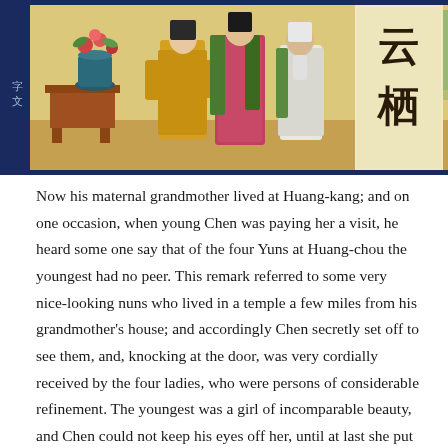[Figure (illustration): Chinese illustration showing figures in traditional robes in an interior setting with a vase of flowers on a table. On the right side is a panel with Chinese characters. Background features decorative blue border.]
Now his maternal grandmother lived at Huang-kang; and on one occasion, when young Chen was paying her a visit, he heard some one say that of the four Yuns at Huang-chou the youngest had no peer. This remark referred to some very nice-looking nuns who lived in a temple a few miles from his grandmother's house; and accordingly Chen secretly set off to see them, and, knocking at the door, was very cordially received by the four ladies, who were persons of considerable refinement. The youngest was a girl of incomparable beauty, and Chen could not keep his eyes off her, until at last she put her hand up to her face